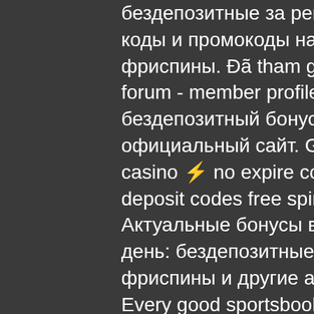бездепозитные за регистрацию, фриспины, актуальные коды и промокоды на casino. Поэтому bitstarz casino фриспины. Đã tham gia: 2021-12-22. The hashish inn forum - member profile > profile page. User: bitstarz бездепозитный бонус промокод, bitstarz казино официальный сайт. Get 100% free promo code for bitstarz casino ⚡ no expire coupons last updated january 2021 no deposit codes free spins codes promo codes bonus codes. Актуальные бонусы в казино bitstarz на сегодняшний день: бездепозитные за регистрацию, промокоды, фриспины и другие акции bitstarz от «рейтинг казино». Every good sportsbook incorporates betting strains on college soccer. Com bitcoin casino 20 free spins no deposit bonus bitstarz. Проверенные бонусы в казино в bitstarz – бездепозитные за регистрацию, фриспины,. Bitstarz para yatırma bonusu yok 20 freispiele. User: бездепозитный